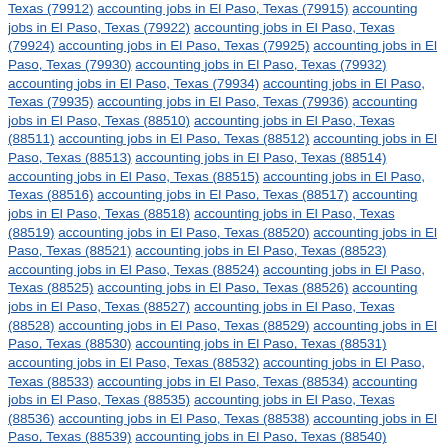Texas (79912) accounting jobs in El Paso, Texas (79915) accounting jobs in El Paso, Texas (79922) accounting jobs in El Paso, Texas (79924) accounting jobs in El Paso, Texas (79925) accounting jobs in El Paso, Texas (79930) accounting jobs in El Paso, Texas (79932) accounting jobs in El Paso, Texas (79934) accounting jobs in El Paso, Texas (79935) accounting jobs in El Paso, Texas (79936) accounting jobs in El Paso, Texas (88510) accounting jobs in El Paso, Texas (88511) accounting jobs in El Paso, Texas (88512) accounting jobs in El Paso, Texas (88513) accounting jobs in El Paso, Texas (88514) accounting jobs in El Paso, Texas (88515) accounting jobs in El Paso, Texas (88516) accounting jobs in El Paso, Texas (88517) accounting jobs in El Paso, Texas (88518) accounting jobs in El Paso, Texas (88519) accounting jobs in El Paso, Texas (88520) accounting jobs in El Paso, Texas (88521) accounting jobs in El Paso, Texas (88523) accounting jobs in El Paso, Texas (88524) accounting jobs in El Paso, Texas (88525) accounting jobs in El Paso, Texas (88526) accounting jobs in El Paso, Texas (88527) accounting jobs in El Paso, Texas (88528) accounting jobs in El Paso, Texas (88529) accounting jobs in El Paso, Texas (88530) accounting jobs in El Paso, Texas (88531) accounting jobs in El Paso, Texas (88532) accounting jobs in El Paso, Texas (88533) accounting jobs in El Paso, Texas (88534) accounting jobs in El Paso, Texas (88535) accounting jobs in El Paso, Texas (88536) accounting jobs in El Paso, Texas (88538) accounting jobs in El Paso, Texas (88539) accounting jobs in El Paso, Texas (88540) accounting jobs in El Paso, Texas (88541) accounting jobs in El Paso, Texas (88542) accounting jobs in El Paso, Texas (88543) accounting jobs